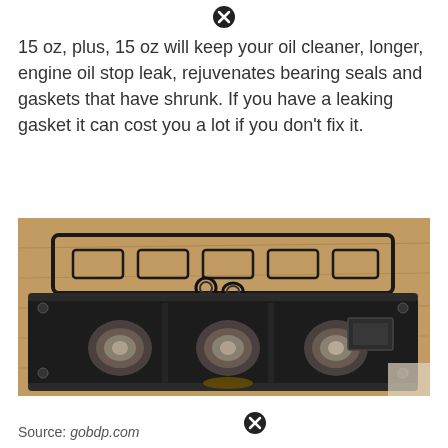[Figure (other): Close/remove icon (X in black circle) at top center of page]
15 oz, plus, 15 oz will keep your oil cleaner, longer, engine oil stop leak, rejuvenates bearing seals and gaskets that have shrunk. If you have a leaking gasket it can cost you a lot if you don't fix it.
[Figure (photo): Photo of a disassembled engine valve cover with gaskets laid out on a wooden surface. The valve cover is black metal with three circular openings and the gasket is laid flat above it.]
Source: gobdp.com
[Figure (other): Close/remove icon (X in black circle) at bottom center of page]